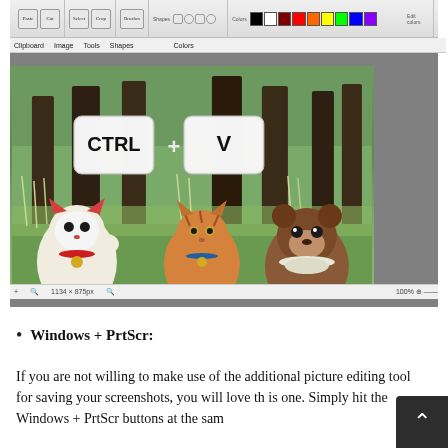[Figure (screenshot): Screenshot of Microsoft Paint application with a forest/anime background image open, showing keyboard shortcut CTRL + V overlaid on the image, and three cartoon animal characters (lucky cat, orange tabby cat, and a brown bear/dog) at the bottom. Paint toolbar and menu bar visible at top.]
Windows + PrtScr:
If you are not willing to make use of the additional picture editing tool for saving your screenshots, you will love this one. Simply hit the Windows + PrtScr buttons at the sam